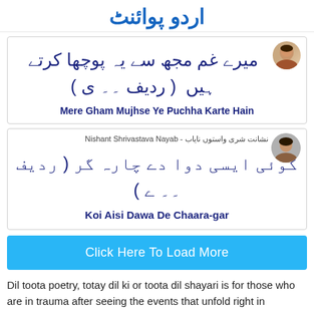اردو پوائنٹ
[Figure (screenshot): Partial card showing top of a poetry listing with avatar photo (man smiling)]
میرے غم مجھ سے یہ پوچھا کرتے ہیں ( ردیف ۔۔ ی )
Mere Gham Mujhse Ye Puchha Karte Hain
نشانت شری واستوں نایاب - Nishant Shrivastava Nayab
کوئی ایسی دوا دے چارہ گر ( ردیف ۔۔ ے )
Koi Aisi Dawa De Chaara-gar
Click Here To Load More
Dil toota poetry, totay dil ki or toota dil shayari is for those who are in trauma after seeing the events that unfold right in